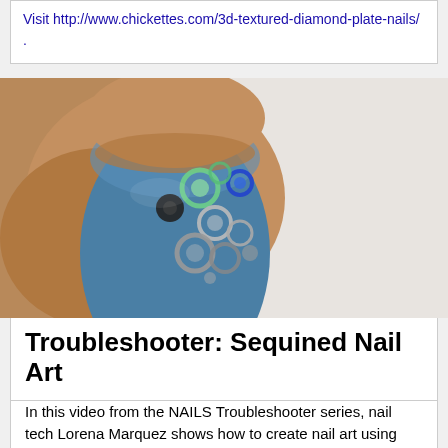Visit http://www.chickettes.com/3d-textured-diamond-plate-nails/ .
[Figure (photo): Close-up photo of a blue nail with decorative sequins and metallic ring-shaped embellishments arranged on the nail surface. The nail has teal/blue polish with green, blue, and silver circular sequin decorations.]
Troubleshooter: Sequined Nail Art
In this video from the NAILS Troubleshooter series, nail tech Lorena Marquez shows how to create nail art using